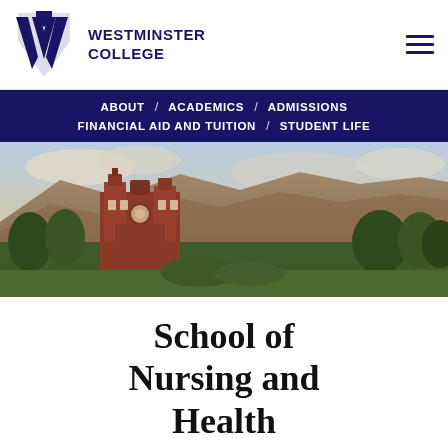[Figure (logo): Westminster College logo with stylized W mark and college name]
ABOUT / ACADEMICS / ADMISSIONS / FINANCIAL AID AND TUITION / STUDENT LIFE
[Figure (photo): Westminster College campus building with red brick architecture and mountains in background]
School of Nursing and Health Sciences Programs and Faculty